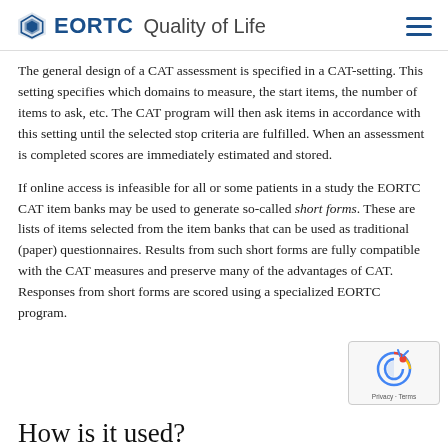EORTC Quality of Life
The general design of a CAT assessment is specified in a CAT-setting. This setting specifies which domains to measure, the start items, the number of items to ask, etc. The CAT program will then ask items in accordance with this setting until the selected stop criteria are fulfilled. When an assessment is completed scores are immediately estimated and stored.
If online access is infeasible for all or some patients in a study the EORTC CAT item banks may be used to generate so-called short forms. These are lists of items selected from the item banks that can be used as traditional (paper) questionnaires. Results from such short forms are fully compatible with the CAT measures and preserve many of the advantages of CAT. Responses from short forms are scored using a specialized EORTC program.
How is it used?